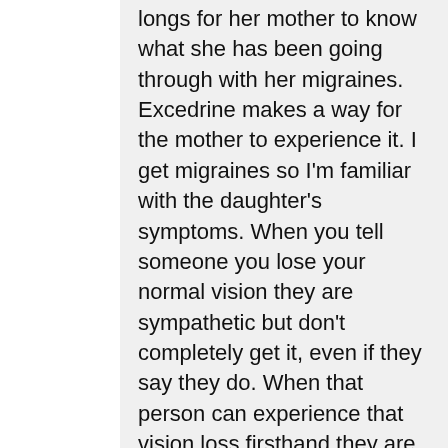longs for her mother to know what she has been going through with her migraines. Excedrine makes a way for the mother to experience it. I get migraines so I'm familiar with the daughter's symptoms. When you tell someone you lose your normal vision they are sympathetic but don't completely get it, even if they say they do. When that person can experience that vision loss firsthand they are empathetic and understand. There is that sense of comfort that you are no